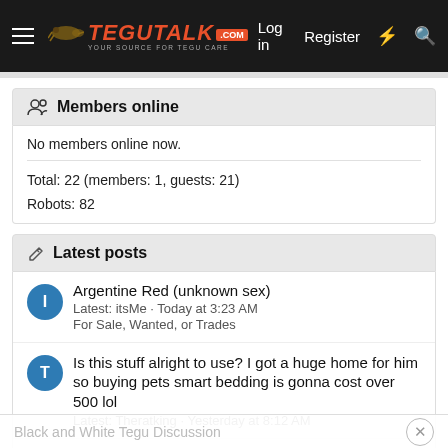TeguTalk.com — Log in | Register
Members online
No members online now.
Total: 22 (members: 1, guests: 21)
Robots: 82
Latest posts
Argentine Red (unknown sex)
Latest: itsMe · Today at 3:23 AM
For Sale, Wanted, or Trades
Is this stuff alright to use? I got a huge home for him so buying pets smart bedding is gonna cost over 500 lol
Latest: Theratking · Yesterday at 8:12 AM
Black and White Tegu Discussion
Gestation Time? B+W X Red - *includes confirmed lock